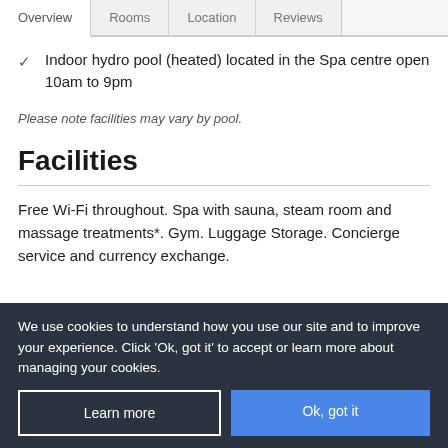Overview | Rooms | Location | Reviews
Indoor hydro pool (heated) located in the Spa centre open 10am to 9pm
Please note facilities may vary by pool.
Facilities
Free Wi-Fi throughout. Spa with sauna, steam room and massage treatments*. Gym. Luggage Storage. Concierge service and currency exchange.
We use cookies to understand how you use our site and to improve your experience. Click 'Ok, got it' to accept or learn more about managing your cookies.
Learn more
Ok, got it